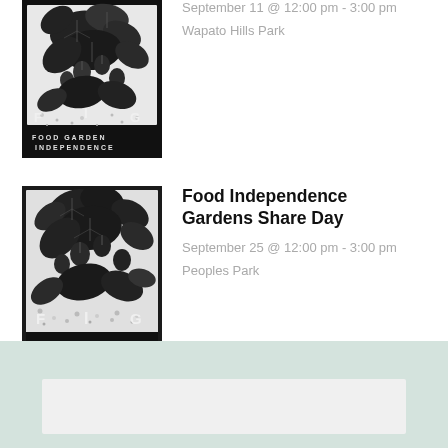[Figure (illustration): Black and white woodcut-style illustration of a fig branch with leaves and fruit, text reading FOOD GARDEN INDEPENDENCE at bottom, letters F I G visible]
September 11 @ 12:00 pm - 3:00 pm
Wapato Hills Park
[Figure (illustration): Black and white woodcut-style illustration of a fig branch with leaves and fruit, text reading FOOD GARDEN INDEPENDENCE at bottom, letters F I G visible]
Food Independence Gardens Share Day
September 25 @ 12:00 pm - 3:00 pm
Peoples Park